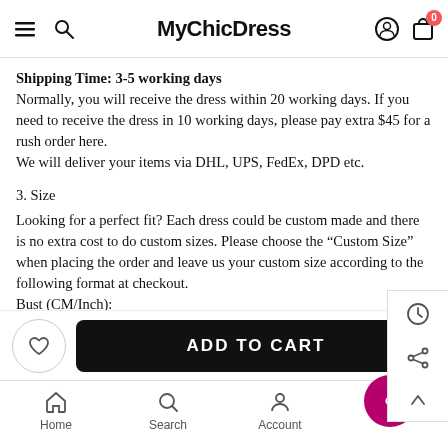MyChicDress
Shipping Time: 3-5 working days
Normally, you will receive the dress within 20 working days. If you need to receive the dress in 10 working days, please pay extra $45 for a rush order here.
We will deliver your items via DHL, UPS, FedEx, DPD etc.
3. Size
Looking for a perfect fit? Each dress could be custom made and there is no extra cost to do custom sizes. Please choose the "Custom Size" when placing the order and leave us your custom size according to the following format at checkout.
Bust (CM/Inch):
Home  Search  Account